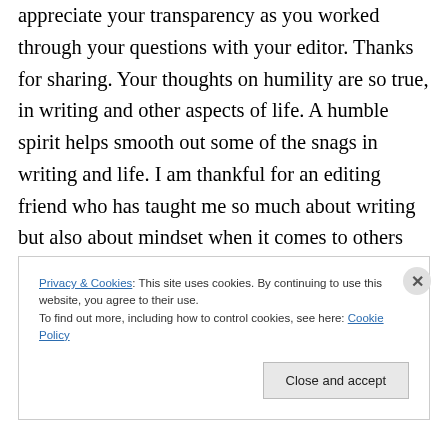appreciate your transparency as you worked through your questions with your editor. Thanks for sharing. Your thoughts on humility are so true, in writing and other aspects of life. A humble spirit helps smooth out some of the snags in writing and life. I am thankful for an editing friend who has taught me so much about writing but also about mindset when it comes to others and “my” writing. Thanks, Katie!
Privacy & Cookies: This site uses cookies. By continuing to use this website, you agree to their use.
To find out more, including how to control cookies, see here: Cookie Policy